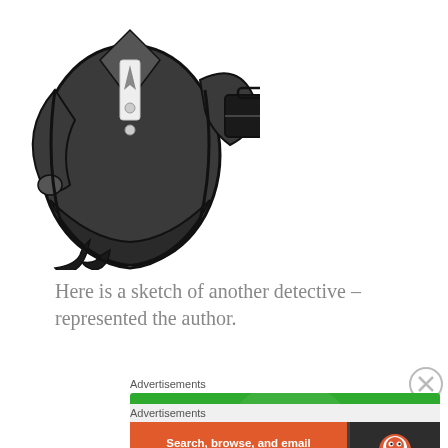[Figure (illustration): Cartoon sketch of a detective figure in a dark suit and hat, holding a briefcase, shown from roughly chest down.]
Here is a sketch of another detective – represented the author.
[Figure (other): Jetpack advertisement banner: green background with Jetpack logo and 'Back up your site' button.]
[Figure (other): DuckDuckGo advertisement banner: orange left side with 'Search, browse, and email with more privacy. All in One Free App' and dark right side with DuckDuckGo logo.]